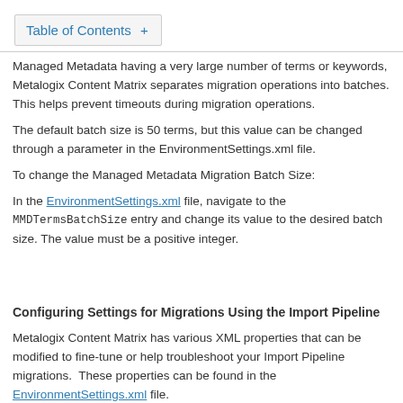Table of Contents +
Managed Metadata having a very large number of terms or keywords, Metalogix Content Matrix separates migration operations into batches. This helps prevent timeouts during migration operations.
The default batch size is 50 terms, but this value can be changed through a parameter in the EnvironmentSettings.xml file.
To change the Managed Metadata Migration Batch Size:
In the EnvironmentSettings.xml file, navigate to the MMDTermsBatchSize entry and change its value to the desired batch size. The value must be a positive integer.
Configuring Settings for Migrations Using the Import Pipeline
Metalogix Content Matrix has various XML properties that can be modified to fine-tune or help troubleshoot your Import Pipeline migrations.  These properties can be found in the EnvironmentSettings.xml file.